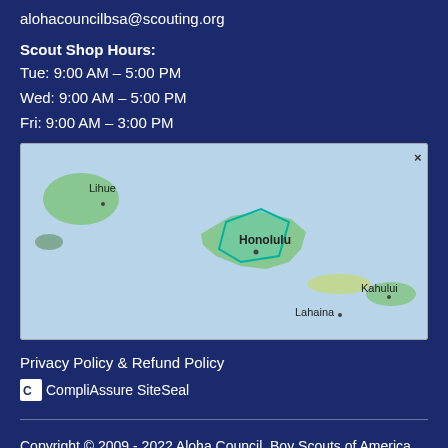alohacouncilbsa@scouting.org
Scout Shop Hours:
Tue: 9:00 AM – 5:00 PM
Wed: 9:00 AM – 5:00 PM
Fri: 9:00 AM – 3:00 PM
[Figure (map): Map showing Hawaiian Islands including Lihue, Honolulu, Lahaina, and Kahului with a teal-outlined region over Oahu]
Privacy Policy & Refund Policy
CompliAssure SiteSeal
Copyright © 2009 - 2022 Aloha Council, Boy Scouts of America. All rights reserved.